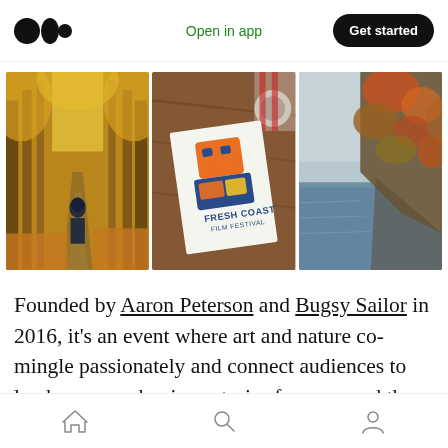Medium logo | Open in app | Get started
[Figure (photo): Three photos side by side: autumn forest path with person in hoodie; Fresh Coast Film Festival booklet on wooden table; rocky cliffs with autumn foliage and water]
Founded by Aaron Peterson and Bugsy Sailor in 2016, it's an event where art and nature co-mingle passionately and connect audiences to landscapes and unique stories from around the world.
Home | Search | Profile icons